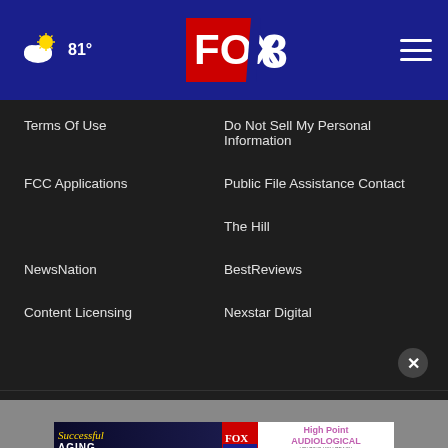81° FOX 8
Terms Of Use
Do Not Sell My Personal Information
FCC Applications
Public File Assistance Contact
The Hill
NewsNation
BestReviews
Content Licensing
Nexstar Digital
© 1998 - 2022 Nexstar Media Inc. | All Rights Reserved.
[Figure (infographic): Advertisement banner: Successful Aging with FOX 8 News logo and High Point Audiological sponsor]